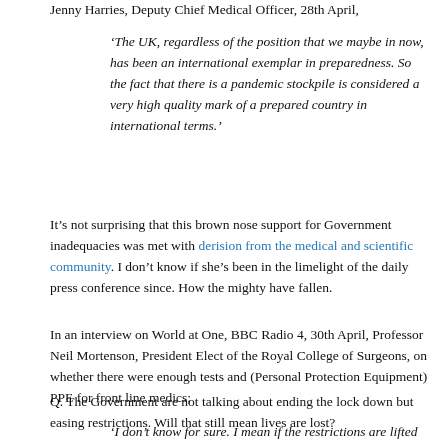Jenny Harries, Deputy Chief Medical Officer, 28th April,
‘The UK, regardless of the position that we maybe in now, has been an international exemplar in preparedness. So the fact that there is a pandemic stockpile is considered a very high quality mark of a prepared country in international terms.’
It’s not surprising that this brown nose support for Government inadequacies was met with derision from the medical and scientific community. I don’t know if she’s been in the limelight of the daily press conference since. How the mighty have fallen.
In an interview on World at One, BBC Radio 4, 30th April, Professor Neil Mortenson, President Elect of the Royal College of Surgeons, on whether there were enough tests and (Personal Protection Equipment) PPE for front line medics;
Q. The Government are not talking about ending the lock down but easing restrictions. Will that still mean lives are lost?
‘I don’t know for sure. I mean if the restrictions are lifted